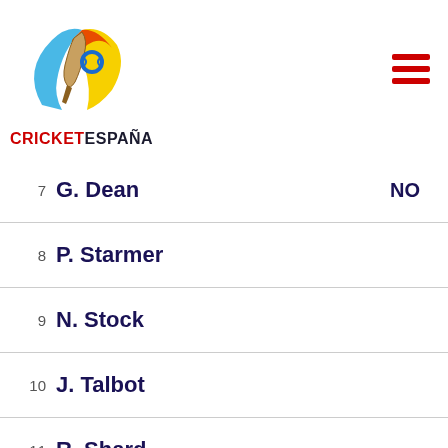[Figure (logo): Cricket España logo with cricket bat and colorful swoosh design]
7  G. Dean  NO
8  P. Starmer
9  N. Stock
10  J. Talbot
11  R. Shard
BYES   LEG BYES   WIDES   NO BALL   PENALTY RUN